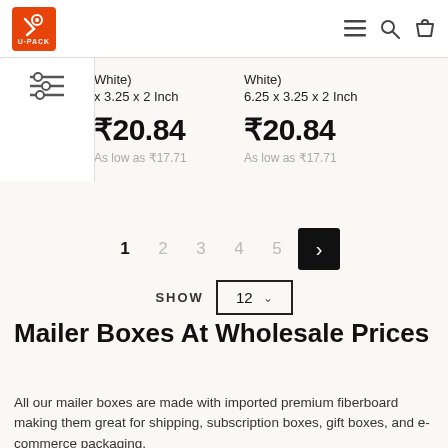U-PACK logo, menu, search, cart icons
White)
 x 3.25 x 2 Inch
₹20.84
As low as ₹17.71
White)
6.25 x 3.25 x 2 Inch
₹20.84
As low as ₹17.71
1 2 3 4 5 ›  SHOW 12
Mailer Boxes At Wholesale Prices
All our mailer boxes are made with imported premium fiberboard making them great for shipping, subscription boxes, gift boxes, and e-commerce packaging.